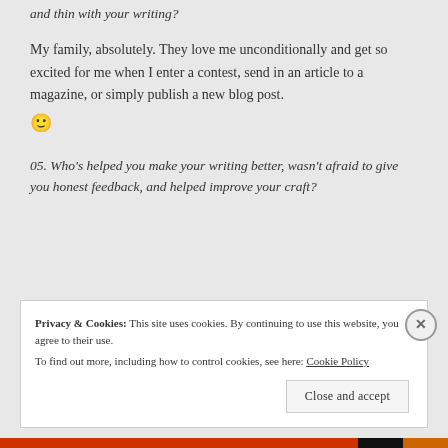and thin with your writing?
My family, absolutely. They love me unconditionally and get so excited for me when I enter a contest, send in an article to a magazine, or simply publish a new blog post. 🙂
05. Who's helped you make your writing better, wasn't afraid to give you honest feedback, and helped improve your craft?
Privacy & Cookies: This site uses cookies. By continuing to use this website, you agree to their use.
To find out more, including how to control cookies, see here: Cookie Policy